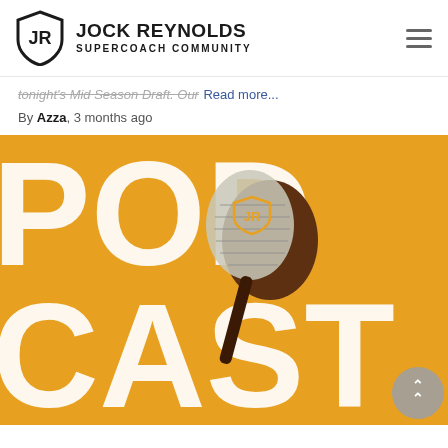JOCK REYNOLDS SUPERCOACH COMMUNITY
tonight's Mid Season Draft. Our Read more...
By Azza, 3 months ago
[Figure (illustration): Orange podcast promotional graphic with large white 'PODCAST' text and a microphone with Jock Reynolds logo, overlaid on an orange background.]